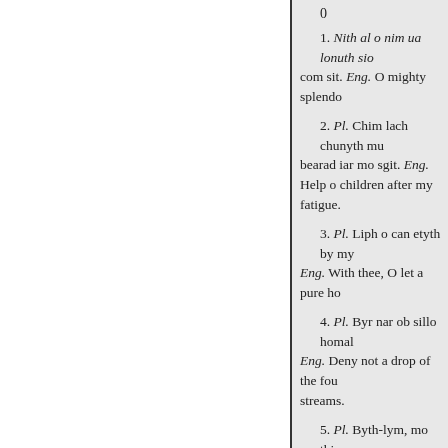0
1. Nith al o nim ua lonuth sio com sit. Eng. O mighty splendo
2. Pl. Chim lach chunyth mu bearad iar mo sgit. Eng. Help o children after my fatigue.
3. Pl. Liph o can etyth by my Eng. With thee, O let a pure ho
4. Pl. Byr nar ob sillo homal Eng. Deny not a drop of the fou streams.
5. Pl. Byth-lym, mo thime no leg tu onta dis mo coine. Eng. miserable
The Irish Bearla-Feni, and the Pu similarities are merely accidenta nation have appealed, uncontradi thousands could have detected. T must be the acknowledged concl